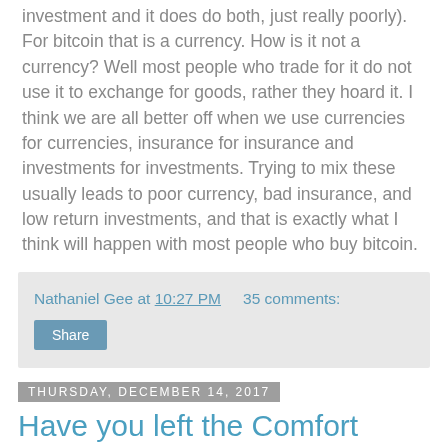investment and it does do both, just really poorly). For bitcoin that is a currency. How is it not a currency? Well most people who trade for it do not use it to exchange for goods, rather they hoard it. I think we are all better off when we use currencies for currencies, insurance for insurance and investments for investments. Trying to mix these usually leads to poor currency, bad insurance, and low return investments, and that is exactly what I think will happen with most people who buy bitcoin.
Nathaniel Gee at 10:27 PM    35 comments:
Share
Thursday, December 14, 2017
Have you left the Comfort Zone?
Today I wrote about the wonder of a local amateur choir (read it here).
My point is part joy in this particular choir and sorrow in the